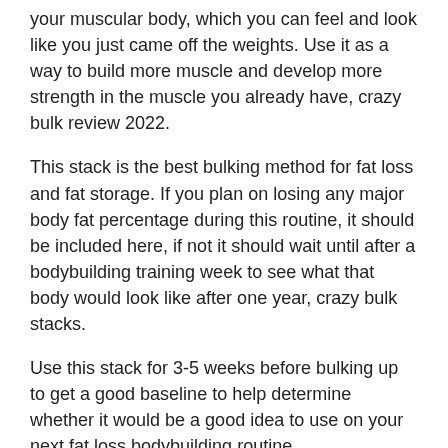your muscular body, which you can feel and look like you just came off the weights. Use it as a way to build more muscle and develop more strength in the muscle you already have, crazy bulk review 2022.
This stack is the best bulking method for fat loss and fat storage. If you plan on losing any major body fat percentage during this routine, it should be included here, if not it should wait until after a bodybuilding training week to see what that body would look like after one year, crazy bulk stacks.
Use this stack for 3-5 weeks before bulking up to get a good baseline to help determine whether it would be a good idea to use on your next fat loss bodybuilding routine.
The 5 day Bulking Schedule Breakdown